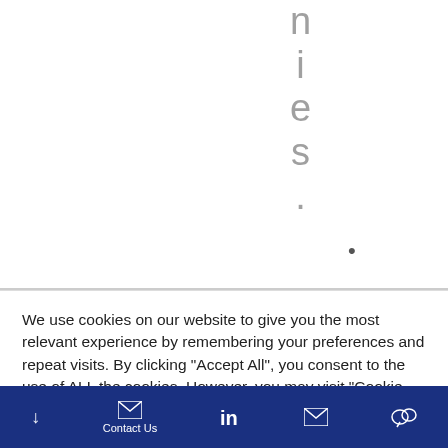n i e s .
• Luxembourg
We use cookies on our website to give you the most relevant experience by remembering your preferences and repeat visits. By clicking "Accept All", you consent to the use of ALL the cookies. However, you may visit "Cookie Settings" to provide a controlled consent.
Cookie Settings | Accept All
Contact Us | LinkedIn | Email | WeChat